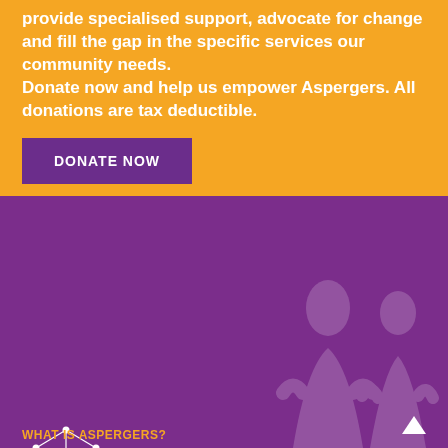provide specialised support, advocate for change and fill the gap in the specific services our community needs. Donate now and help us empower Aspergers. All donations are tax deductible.
DONATE NOW
[Figure (logo): Aspergers Victoria logo: geometric network polygon icon on left, stylized 'av' letters and 'ASPERGERS VICTORIA' text on right, white on purple background]
[Figure (infographic): Social media icons: Facebook (f), Twitter (bird), LinkedIn (in) in white on purple background]
WHAT IS ASPERGERS?